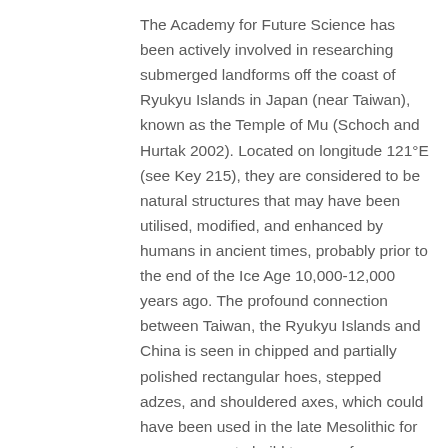The Academy for Future Science has been actively involved in researching submerged landforms off the coast of Ryukyu Islands in Japan (near Taiwan), known as the Temple of Mu (Schoch and Hurtak 2002). Located on longitude 121°E (see Key 215), they are considered to be natural structures that may have been utilised, modified, and enhanced by humans in ancient times, probably prior to the end of the Ice Age 10,000-12,000 years ago. The profound connection between Taiwan, the Ryukyu Islands and China is seen in chipped and partially polished rectangular hoes, stepped adzes, and shouldered axes, which could have been used in the late Mesolithic for commerce or to build terraces for agriculture (Schoch and Hurtak 2002). It is interesting to note that the first of 36 generations of emperors in Japan, Jim-Mu and KimMu, have a clear linguistic relationship to the motherland of Mu (Schoch and Hurtak 2002).
Rapid climatic shifts at the end of the Ice Age drove the inhabitants of Mu to seek higher ground and colonise...